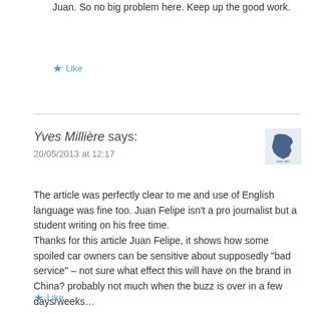Juan. So no big problem here. Keep up the good work.
★ Like
Yves Millière says:
20/05/2013 at 12:17
[Figure (illustration): Small blue avatar/logo image representing Yves Millière's profile picture, showing a map of France outline in dark blue]
The article was perfectly clear to me and use of English language was fine too. Juan Felipe isn't a pro journalist but a student writing on his free time.
Thanks for this article Juan Felipe, it shows how some spoiled car owners can be sensitive about supposedly "bad service" – not sure what effect this will have on the brand in China? probably not much when the buzz is over in a few days/weeks…
★ Like